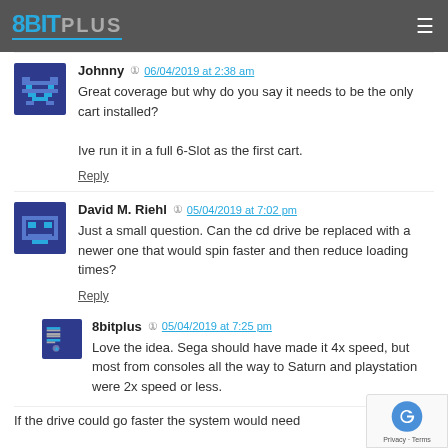8BIT PLUS
Johnny  06/04/2019 at 2:38 am
Great coverage but why do you say it needs to be the only cart installed?
Ive run it in a full 6-Slot as the first cart.
Reply
David M. Riehl  05/04/2019 at 7:02 pm
Just a small question. Can the cd drive be replaced with a newer one that would spin faster and then reduce loading times?
Reply
8bitplus  05/04/2019 at 7:25 pm
Love the idea. Sega should have made it 4x speed, but most from consoles all the way to Saturn and playstation were 2x speed or less.
If the drive could go faster the system would need